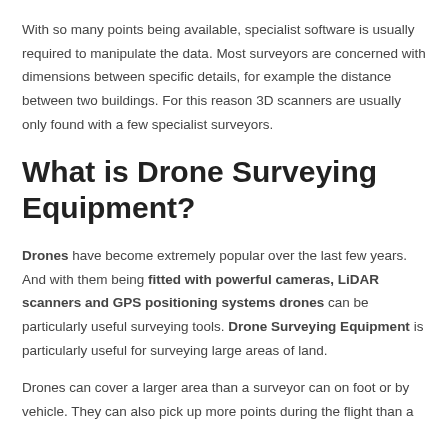With so many points being available, specialist software is usually required to manipulate the data. Most surveyors are concerned with dimensions between specific details, for example the distance between two buildings. For this reason 3D scanners are usually only found with a few specialist surveyors.
What is Drone Surveying Equipment?
Drones have become extremely popular over the last few years. And with them being fitted with powerful cameras, LiDAR scanners and GPS positioning systems drones can be particularly useful surveying tools. Drone Surveying Equipment is particularly useful for surveying large areas of land.
Drones can cover a larger area than a surveyor can on foot or by vehicle. They can also pick up more points during the flight than a